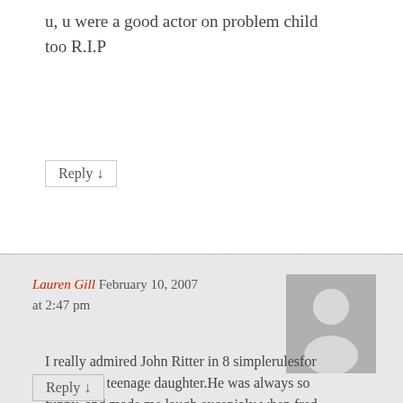u, u were a good actor on problem child too R.I.P
Reply ↓
Lauren Gill February 10, 2007 at 2:47 pm
I really admired John Ritter in 8 simplerulesfor dating my teenage daughter.He was always so funny, and made me laugh excepialy when fred doilcame round for dinner! I send him all my best wishes. From Lauren x
Reply ↓